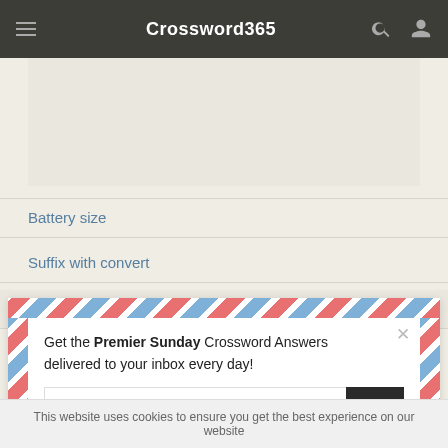Crossword365
Battery size
Suffix with convert
Army sites
[Figure (screenshot): Air mail styled popup with email signup form. Text reads: Get the Premier Sunday Crossword Answers delivered to your inbox every day! with an email input field and submit button.]
Get the Premier Sunday Crossword Answers delivered to your inbox every day!
This website uses cookies to ensure you get the best experience on our website